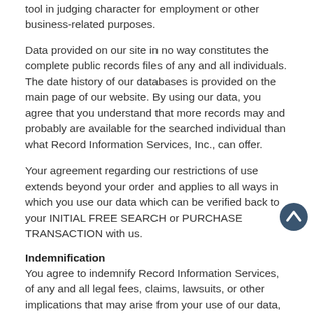tool in judging character for employment or other business-related purposes.
Data provided on our site in no way constitutes the complete public records files of any and all individuals. The date history of our databases is provided on the main page of our website. By using our data, you agree that you understand that more records may and probably are available for the searched individual than what Record Information Services, Inc., can offer.
Your agreement regarding our restrictions of use extends beyond your order and applies to all ways in which you use our data which can be verified back to your INITIAL FREE SEARCH or PURCHASE TRANSACTION with us.
Indemnification
You agree to indemnify Record Information Services, of any and all legal fees, claims, lawsuits, or other implications that may arise from your use of our data, or anyone you allow to access our data through your account. This extends to all employees, independent contractors, vendors, customers, suppliers, directors, owners and the company itself.
Purchases and Refunds
Record Information Services, Inc., allows only paid subscribers